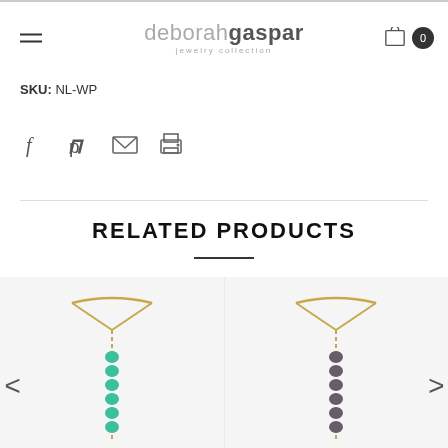deborah gaspar jewelry collection — navigation header with cart
SKU: NL-WP
[Figure (infographic): Social sharing icons: Facebook, Pinterest, Email, Print]
RELATED PRODUCTS
[Figure (photo): Gold chain hand jewelry with turquoise/green beads, displayed on white background]
[Figure (photo): Gold chain hand jewelry with dark/grey beads, displayed on white background]